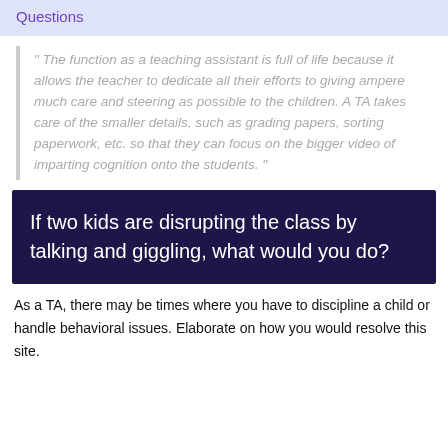Questions
" The function as a teaching assistant is full of life because it allows the teacher to dedicate all their efforts to giving ampere much care and steering as possible to the children. A TA takes care of the smaller details, such as grading papers, sorting paperwork, etc. so that they can focus on the bigger video of imparting cognition onto the students. "
If two kids are disrupting the class by talking and giggling, what would you do?
As a TA, there may be times where you have to discipline a child or handle behavioral issues. Elaborate on how you would resolve this site.